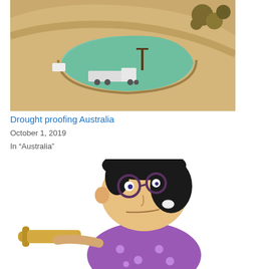[Figure (photo): Aerial view of a water reservoir/dam in a dry Australian landscape with a white tanker truck nearby]
Drought proofing Australia
October 1, 2019
In "Australia"
[Figure (illustration): Cartoon character (animated woman with dark hair and glasses) holding a rolling pin, wearing a purple polka-dot outfit]